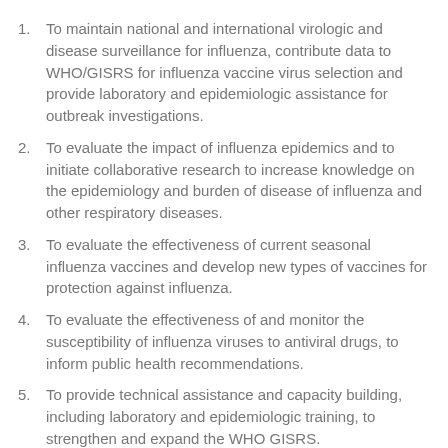To maintain national and international virologic and disease surveillance for influenza, contribute data to WHO/GISRS for influenza vaccine virus selection and provide laboratory and epidemiologic assistance for outbreak investigations.
To evaluate the impact of influenza epidemics and to initiate collaborative research to increase knowledge on the epidemiology and burden of disease of influenza and other respiratory diseases.
To evaluate the effectiveness of current seasonal influenza vaccines and develop new types of vaccines for protection against influenza.
To evaluate the effectiveness of and monitor the susceptibility of influenza viruses to antiviral drugs, to inform public health recommendations.
To provide technical assistance and capacity building, including laboratory and epidemiologic training, to strengthen and expand the WHO GISRS.